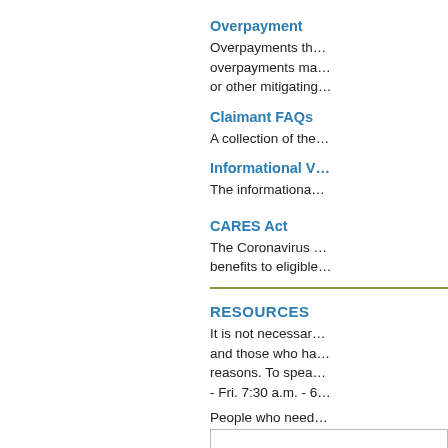Overpayment
Overpayments th... overpayments ma... or other mitigating...
Claimant FAQs
A collection of the...
Informational V...
The informationa...
CARES Act
The Coronavirus ... benefits to eligible...
RESOURCES
It is not necessar... and those who ha... reasons. To spea... - Fri. 7:30 a.m. - 6...
People who need... 352-7759).